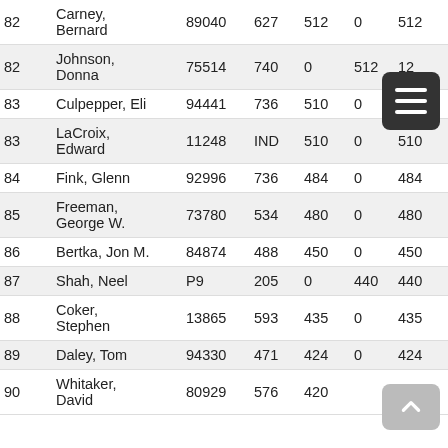| Rank | Name | ID | Col4 | Col5 | Col6 | Total |
| --- | --- | --- | --- | --- | --- | --- |
| 82 | Carney, Bernard | 89040 | 627 | 512 | 0 | 512 |
| 82 | Johnson, Donna | 75514 | 740 | 0 | 512 | 12 |
| 83 | Culpepper, Eli | 94441 | 736 | 510 | 0 | 510 |
| 83 | LaCroix, Edward | 11248 | IND | 510 | 0 | 510 |
| 84 | Fink, Glenn | 92996 | 736 | 484 | 0 | 484 |
| 85 | Freeman, George W. | 73780 | 534 | 480 | 0 | 480 |
| 86 | Bertka, Jon M. | 84874 | 488 | 450 | 0 | 450 |
| 87 | Shah, Neel | P9 | 205 | 0 | 440 | 440 |
| 88 | Coker, Stephen | 13865 | 593 | 435 | 0 | 435 |
| 89 | Daley, Tom | 94330 | 471 | 424 | 0 | 424 |
| 90 | Whitaker, David | 80929 | 576 | 420 |  | 420 |